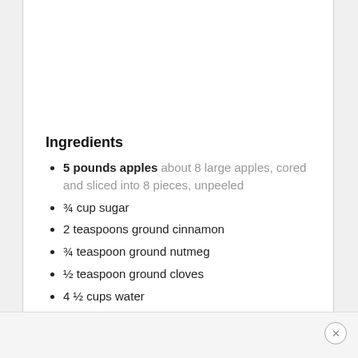Ingredients
5 pounds apples about 8 large apples, cored and sliced into 8 pieces, unpeeled
¾ cup sugar
2 teaspoons ground cinnamon
¾ teaspoon ground nutmeg
½ teaspoon ground cloves
4 ½ cups water
⅓ cup caramel syrup